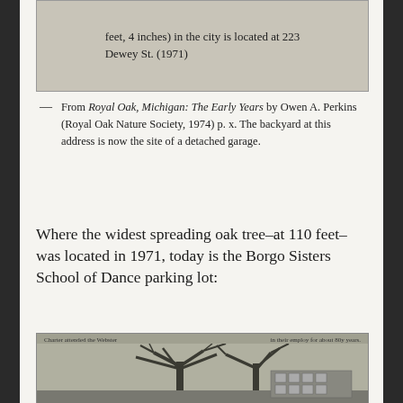[Figure (photo): Black and white photograph of an oak tree at 223 Dewey St., showing text overlay: 'The oak tree with the largest diameter (feet, 4 inches) in the city is located at 223 Dewey St. (1971)']
— From Royal Oak, Michigan: The Early Years by Owen A. Perkins (Royal Oak Nature Society, 1974) p. x. The backyard at this address is now the site of a detached garage.
Where the widest spreading oak tree–at 110 feet–was located in 1971, today is the Borgo Sisters School of Dance parking lot:
[Figure (photo): Black and white photograph of a large bare oak tree in winter, with a building visible in the background. Small caption text at top reads partially: 'Charter attended the Webster' and 'in their employ for about 80y years.']